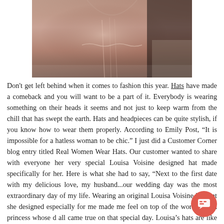[Figure (photo): Cropped photo of a woman wearing a decorative mauve/dusty rose embroidered top or dress, with dark hair visible on the right side. Background is muted/neutral.]
Don't get left behind when it comes to fashion this year. Hats have made a comeback and you will want to be a part of it. Everybody is wearing something on their heads it seems and not just to keep warm from the chill that has swept the earth. Hats and headpieces can be quite stylish, if you know how to wear them properly. According to Emily Post, “It is impossible for a hatless woman to be chic.” I just did a Customer Corner blog entry titled Real Women Wear Hats. Our customer wanted to share with everyone her very special Louisa Voisine designed hat made specifically for her. Here is what she had to say, “Next to the first date with my delicious love, my husband...our wedding day was the most extraordinary day of my life. Wearing an original Louisa Voisine hat that she designed especially for me made me feel on top of the world..like a princess whose d all came true on that special day. Louisa’s hats are like gr art...empowering & stunning!” Empowering and stunning, these